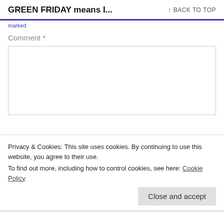GREEN FRIDAY means I...   ↑ BACK TO TOP
marked
Comment *
Privacy & Cookies: This site uses cookies. By continuing to use this website, you agree to their use.
To find out more, including how to control cookies, see here: Cookie Policy
Close and accept